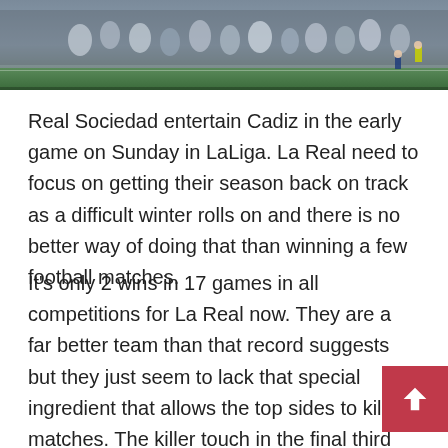[Figure (photo): Crowd of football fans at a stadium, players visible in background near pitch with green grass]
Real Sociedad entertain Cadiz in the early game on Sunday in LaLiga. La Real need to focus on getting their season back on track as a difficult winter rolls on and there is no better way of doing that than winning a few football matches.
It's only 2 wins in 17 games in all competitions for La Real now. They are a far better team than that record suggests but they just seem to lack that special ingredient that allows the top sides to kill off matches. The killer touch in the final third has often been lacking, however Imanol will be encouraged by signs that Alexander Isak is returning to form with the young Swede having netted in each of his last 3 league appearances.